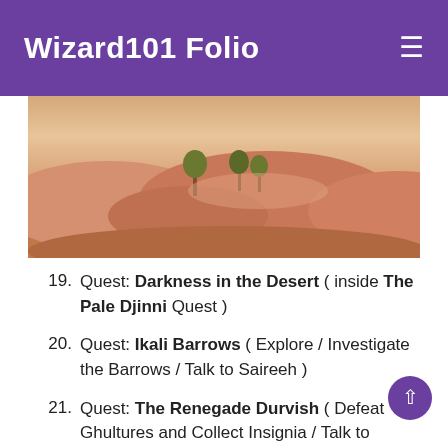Wizard101 Folio
[Figure (photo): Desert landscape with sand dunes and sparse trees, rendered in a video game art style with warm sandy orange tones.]
Quest: Darkness in the Desert ( inside The Pale Djinni Quest )
Quest: Ikali Barrows ( Explore / Investigate the Barrows / Talk to Saireeh )
Quest: The Renegade Durvish ( Defeat Ghultures and Collect Insignia / Talk to Saireeh )
Quest: The Barracks Barrow ( Explore / Defeat the